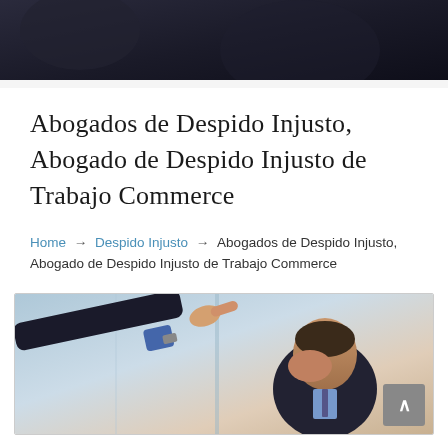[Figure (photo): Dark background header photo showing people in professional/business setting]
Abogados de Despido Injusto, Abogado de Despido Injusto de Trabajo Commerce
Home → Despido Injusto → Abogados de Despido Injusto, Abogado de Despido Injusto de Trabajo Commerce
[Figure (photo): Photo of a man in a suit being pointed at dismissively by another person, appearing distressed, covering his face]